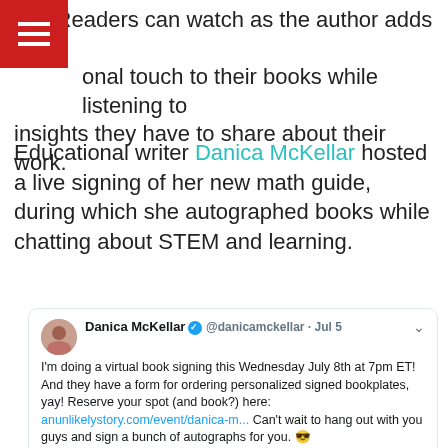[Figure (other): Red hamburger menu button in top-left corner with three white horizontal bars]
nts. Readers can watch as the author adds a onal touch to their books while listening to insights they have to share about their work.
Educational writer Danica McKellar hosted a live signing of her new math guide, during which she autographed books while chatting about STEM and learning.
[Figure (screenshot): Embedded tweet from Danica McKellar (@danicamckellar) dated Jul 5, announcing a virtual book signing on Wednesday July 8th at 7pm ET, with a link to anunlikelystory.com/event/danica-m..., and an embedded book card image showing Danica McKellar and the book cover 'The Times Machine!']